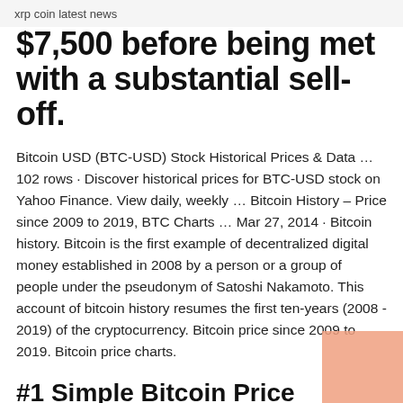xrp coin latest news
$7,500 before being met with a substantial sell-off.
Bitcoin USD (BTC-USD) Stock Historical Prices & Data … 102 rows · Discover historical prices for BTC-USD stock on Yahoo Finance. View daily, weekly … Bitcoin History – Price since 2009 to 2019, BTC Charts … Mar 27, 2014 · Bitcoin history. Bitcoin is the first example of decentralized digital money established in 2008 by a person or a group of people under the pseudonym of Satoshi Nakamoto. This account of bitcoin history resumes the first ten-years (2008 - 2019) of the cryptocurrency. Bitcoin price since 2009 to 2019. Bitcoin price charts.
#1 Simple Bitcoin Price History Chart (Since 2009)
If you recall Bitcoin was worth nearly $20,000 in 16th December 2017. But in 17th December 2018, the price of Bitcoin was at its